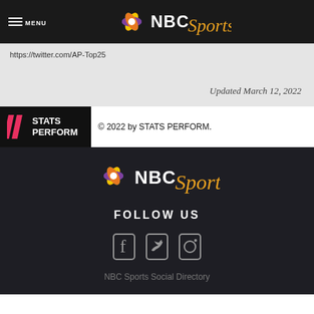MENU — NBC Sports
https://twitter.com/AP-Top25
Updated March 12, 2022
[Figure (logo): STATS PERFORM logo with diagonal stripes]
© 2022 by STATS PERFORM.
[Figure (logo): NBC Sports logo in footer]
FOLLOW US
[Figure (infographic): Social media icons: Facebook, Twitter, Instagram]
NBC Sports Social Directory